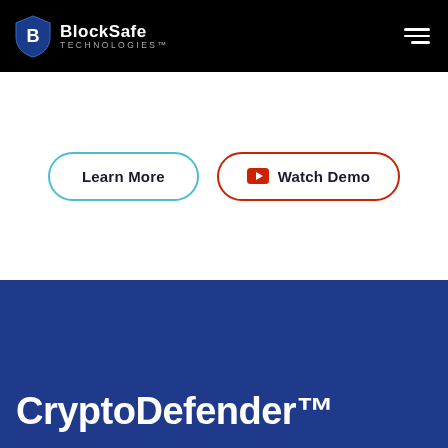BlockSafe Technologies
[Figure (screenshot): Two call-to-action buttons: 'Learn More' with cyan border and 'Watch Demo' with red border and YouTube icon]
CryptoDefender™